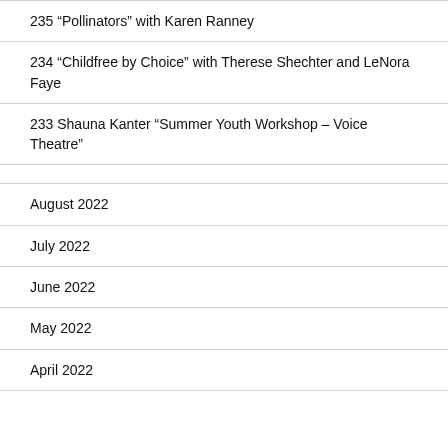235 “Pollinators” with Karen Ranney
234 “Childfree by Choice” with Therese Shechter and LeNora Faye
233 Shauna Kanter “Summer Youth Workshop – Voice Theatre”
August 2022
July 2022
June 2022
May 2022
April 2022